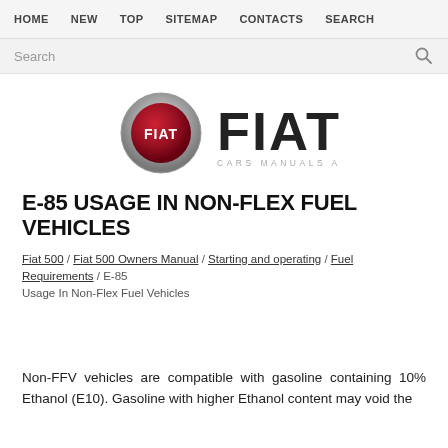HOME  NEW  TOP  SITEMAP  CONTACTS  SEARCH
Search
[Figure (logo): Fiat logo with circular chrome emblem and FIAT text, tagline: CARS MANUALS AND INFORMATION]
E-85 USAGE IN NON-FLEX FUEL VEHICLES
Fiat 500 / Fiat 500 Owners Manual / Starting and operating / Fuel Requirements / E-85 Usage In Non-Flex Fuel Vehicles
Non-FFV vehicles are compatible with gasoline containing 10% Ethanol (E10). Gasoline with higher Ethanol content may void the